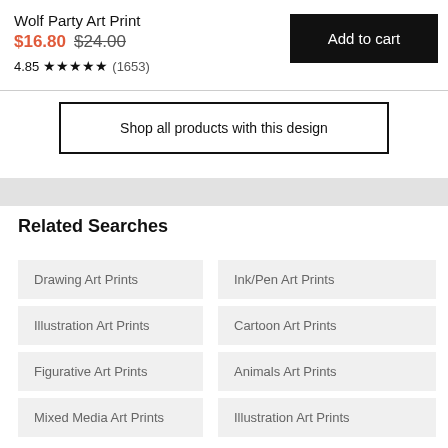Wolf Party Art Print
$16.80 $24.00
4.85 ★★★★★ (1653)
Add to cart
Shop all products with this design
Related Searches
Drawing Art Prints
Ink/Pen Art Prints
Illustration Art Prints
Cartoon Art Prints
Figurative Art Prints
Animals Art Prints
Mixed Media Art Prints
Illustration Art Prints